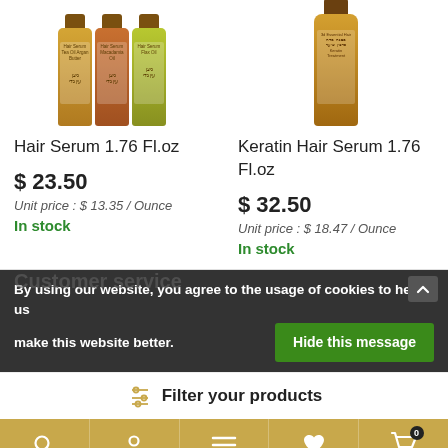[Figure (photo): Three hair serum bottles (left product) and one keratin hair serum bottle (right product)]
Hair Serum 1.76 Fl.oz
$ 23.50
Unit price : $ 13.35 / Ounce
In stock
Keratin Hair Serum 1.76 Fl.oz
$ 32.50
Unit price : $ 18.47 / Ounce
In stock
By using our website, you agree to the usage of cookies to help us make this website better.
Hide this message
Customer service
Filter your products
Search | Account | Menu | Wishlist | Cart 0